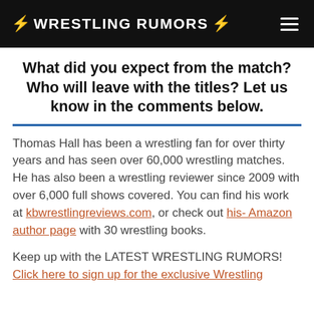⚡ WRESTLING RUMORS ⚡
What did you expect from the match? Who will leave with the titles? Let us know in the comments below.
Thomas Hall has been a wrestling fan for over thirty years and has seen over 60,000 wrestling matches. He has also been a wrestling reviewer since 2009 with over 6,000 full shows covered. You can find his work at kbwrestlingreviews.com, or check out his- Amazon author page with 30 wrestling books.
Keep up with the LATEST WRESTLING RUMORS! Click here to sign up for the exclusive Wrestling